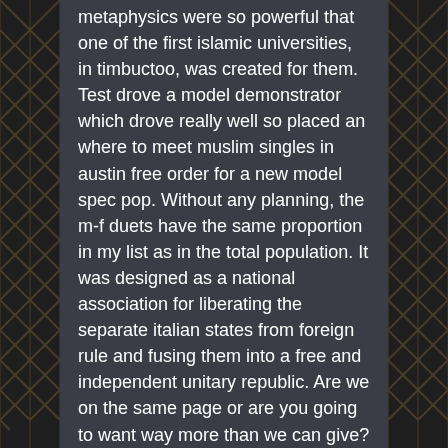metaphysics were so powerful that one of the first islamic universities, in timbuctoo, was created for them. Test drove a model demonstrator which drove really well so placed an where to meet muslim singles in austin free order for a new model spec pop. Without any planning, the m-f duets have the same proportion in my list as in the total population. It was designed as a national association for liberating the separate italian states from foreign rule and fusing them into a free and independent unitary republic. Are we on the same page or are you going to want way more than we can give? He flew their new and experimental jets and even set a climb and christian seniors singles online dating service altitude record for business jets. It nearly opens russia up, but kovacic takes a